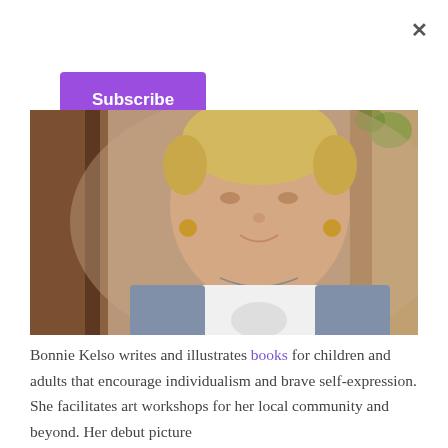×
Subscribe
[Figure (photo): Portrait photo of Bonnie Kelso, a woman with short blonde hair wearing a gray and white raglan baseball shirt and a delicate necklace, smiling at the camera, with a warm blurred background.]
Bonnie Kelso writes and illustrates books for children and adults that encourage individualism and brave self-expression. She facilitates art workshops for her local community and beyond. Her debut picture book NUDLGIL launches in March 2023. A